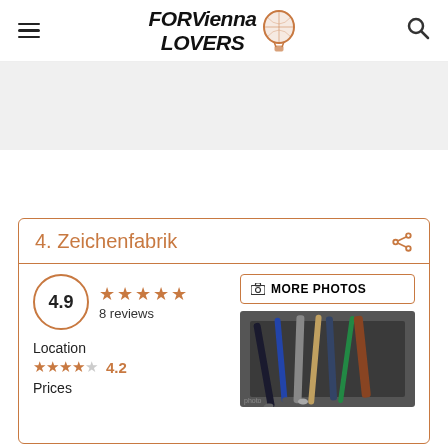FOR Vienna LOVERS
4. Zeichenfabrik
4.9 ★★★★★ 8 reviews
MORE PHOTOS
[Figure (photo): Art brushes and pencils closeup on dark surface]
Location ★★★★☆ 4.2
Prices